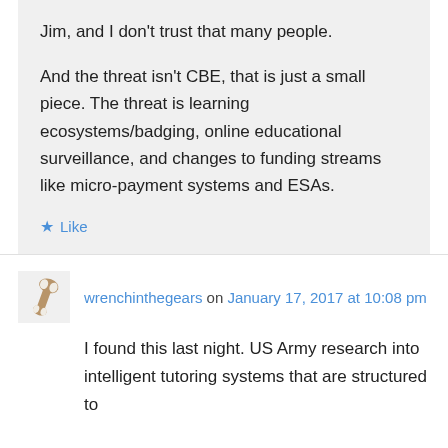Jim, and I don't trust that many people.
And the threat isn't CBE, that is just a small piece. The threat is learning ecosystems/badging, online educational surveillance, and changes to funding streams like micro-payment systems and ESAs.
★ Like
wrenchinthegears on January 17, 2017 at 10:08 pm
I found this last night. US Army research into intelligent tutoring systems that are structured to